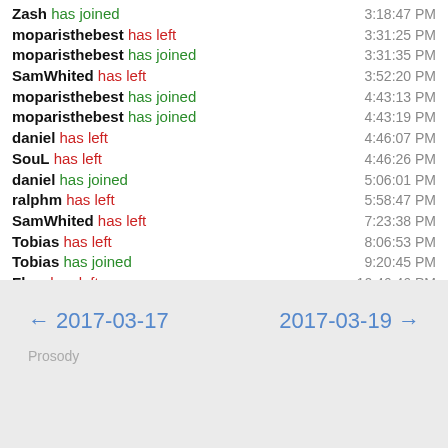Zash has joined 3:18:47 PM
moparisthebest has left 3:31:25 PM
moparisthebest has joined 3:31:35 PM
SamWhited has left 3:52:20 PM
moparisthebest has joined 4:43:13 PM
moparisthebest has joined 4:43:19 PM
daniel has left 4:46:07 PM
SouL has left 4:46:26 PM
daniel has joined 5:06:01 PM
ralphm has left 5:58:47 PM
SamWhited has left 7:23:38 PM
Tobias has left 8:06:53 PM
Tobias has joined 9:20:45 PM
Flow has left 10:46:46 PM
Tobias has joined 11:00:20 PM
← 2017-03-17   2017-03-19 →
Prosody